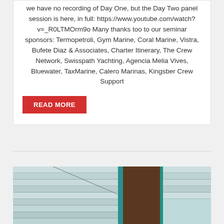we have no recording of Day One, but the Day Two panel session is here, in full: https://www.youtube.com/watch?v=_R0LTMOrm9o Many thanks too to our seminar sponsors: Termopetroli, Gym Marine, Coral Marine, Vistra, Bufete Diaz & Associates, Charter Itinerary, The Crew Network, Swisspath Yachting, Agencia Melia Vives, Bluewater, TaxMarine, Calero Marinas, Kingsber Crew Support
READ MORE
[Figure (photo): Photo of white chickens/hens near the entrance of a barn or coop with teal/blue painted wooden siding and a wooden door opening.]